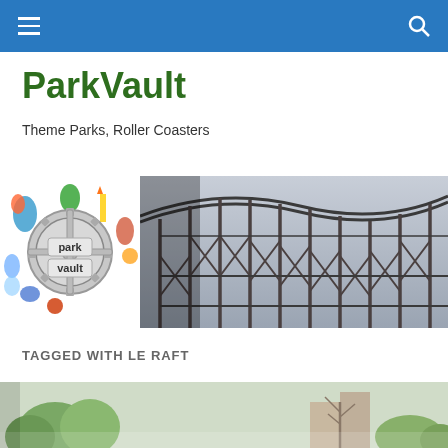ParkVault navigation bar
ParkVault
Theme Parks, Roller Coasters
[Figure (logo): ParkVault circular logo with 'park vault' text and theme park illustrations]
[Figure (photo): Roller coaster wooden structure close-up against grey sky]
TAGGED WITH LE RAFT
[Figure (photo): Outdoor scene with trees at bottom of page]